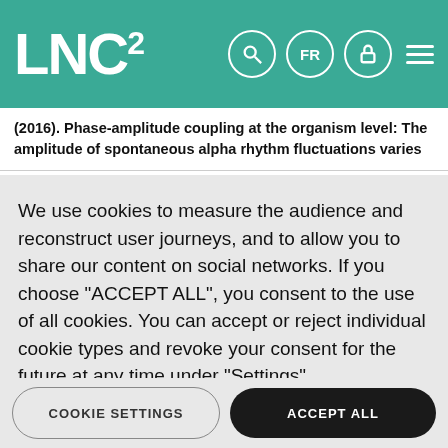LNC²
(2016). Phase-amplitude coupling at the organism level: The amplitude of spontaneous alpha rhythm fluctuations varies
We use cookies to measure the audience and reconstruct user journeys, and to allow you to share our content on social networks. If you choose "ACCEPT ALL", you consent to the use of all cookies. You can accept or reject individual cookie types and revoke your consent for the future at any time under "Settings".
Privacy policy
Cookie Policy